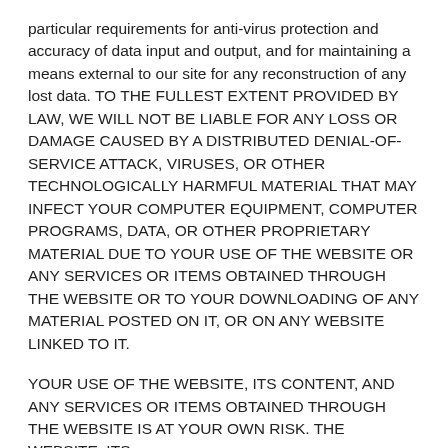particular requirements for anti-virus protection and accuracy of data input and output, and for maintaining a means external to our site for any reconstruction of any lost data. TO THE FULLEST EXTENT PROVIDED BY LAW, WE WILL NOT BE LIABLE FOR ANY LOSS OR DAMAGE CAUSED BY A DISTRIBUTED DENIAL-OF-SERVICE ATTACK, VIRUSES, OR OTHER TECHNOLOGICALLY HARMFUL MATERIAL THAT MAY INFECT YOUR COMPUTER EQUIPMENT, COMPUTER PROGRAMS, DATA, OR OTHER PROPRIETARY MATERIAL DUE TO YOUR USE OF THE WEBSITE OR ANY SERVICES OR ITEMS OBTAINED THROUGH THE WEBSITE OR TO YOUR DOWNLOADING OF ANY MATERIAL POSTED ON IT, OR ON ANY WEBSITE LINKED TO IT.
YOUR USE OF THE WEBSITE, ITS CONTENT, AND ANY SERVICES OR ITEMS OBTAINED THROUGH THE WEBSITE IS AT YOUR OWN RISK. THE WEBSITE, ITS